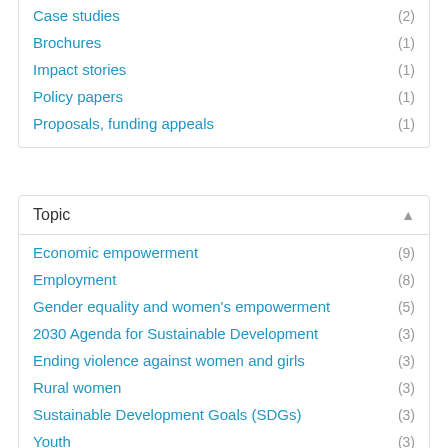Case studies (2)
Brochures (1)
Impact stories (1)
Policy papers (1)
Proposals, funding appeals (1)
Topic
Economic empowerment (9)
Employment (8)
Gender equality and women's empowerment (5)
2030 Agenda for Sustainable Development (3)
Ending violence against women and girls (3)
Rural women (3)
Sustainable Development Goals (SDGs) (3)
Youth (3)
Entrepreneurship (2)
Gender wage gap (2)